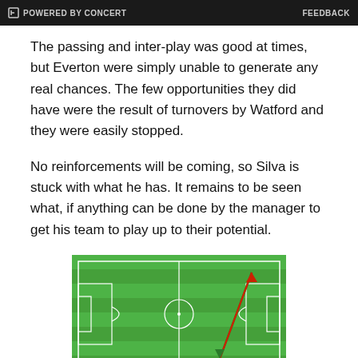POWERED BY CONCERT   FEEDBACK
The passing and inter-play was good at times, but Everton were simply unable to generate any real chances. The few opportunities they did have were the result of turnovers by Watford and they were easily stopped.
No reinforcements will be coming, so Silva is stuck with what he has. It remains to be seen what, if anything can be done by the manager to get his team to play up to their potential.
[Figure (other): Football pitch diagram showing a passing arrow in dark red/green from the right side of the pitch toward the top right corner, with green and red arrow lines on a green striped football pitch with white markings.]